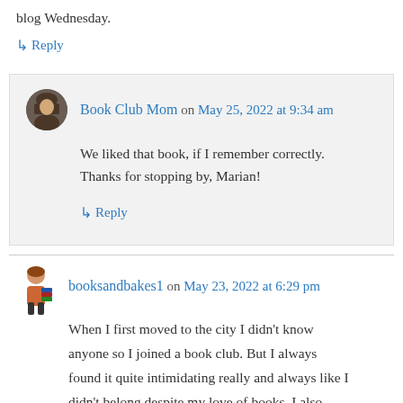blog Wednesday.
↳ Reply
Book Club Mom on May 25, 2022 at 9:34 am
We liked that book, if I remember correctly. Thanks for stopping by, Marian!
↳ Reply
booksandbakes1 on May 23, 2022 at 6:29 pm
When I first moved to the city I didn't know anyone so I joined a book club. But I always found it quite intimidating really and always like I didn't belong despite my love of books. I also